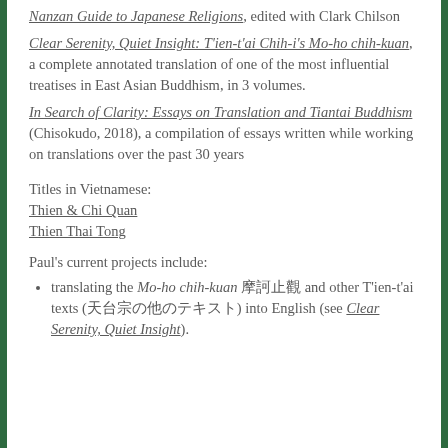Nanzan Guide to Japanese Religions, edited with Clark Chilson
Clear Serenity, Quiet Insight: T'ien-t'ai Chih-i's Mo-ho chih-kuan, a complete annotated translation of one of the most influential treatises in East Asian Buddhism, in 3 volumes.
In Search of Clarity: Essays on Translation and Tiantai Buddhism (Chisokudo, 2018), a compilation of essays written while working on translations over the past 30 years
Titles in Vietnamese:
Thien & Chi Quan
Thien Thai Tong
Paul's current projects include:
translating the Mo-ho chih-kuan 摩訶止観 and other T'ien-t'ai texts (天台宗の他のテキスト) into English (see Clear Serenity, Quiet Insight).